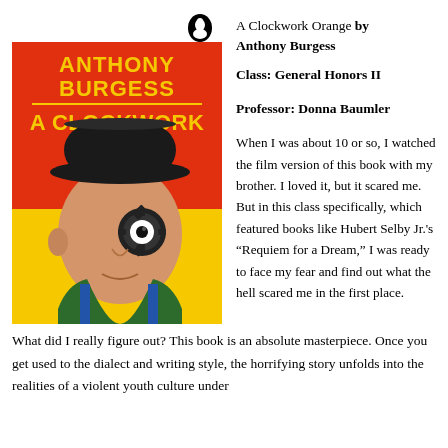[Figure (illustration): Book cover of 'A Clockwork Orange' by Anthony Burgess. Red background top half, yellow bottom. Bold yellow text 'ANTHONY BURGESS' at top, bold yellow text 'A CLOCKWORK ORANGE' in middle. Illustration of a man's face with a black bowler hat, a gear/clockwork eye piece over one eye, wearing a green jacket with blue stripes. Penguin books logo top right.]
A Clockwork Orange by Anthony Burgess
Class: General Honors II
Professor: Donna Baumler
When I was about 10 or so, I watched the film version of this book with my brother. I loved it, but it scared me. But in this class specifically, which featured books like Hubert Selby Jr.'s “Requiem for a Dream,” I was ready to face my fear and find out what the hell scared me in the first place. What did I really figure out? This book is an absolute masterpiece. Once you get used to the dialect and writing style, the horrifying story unfolds into the realities of a violent youth culture under